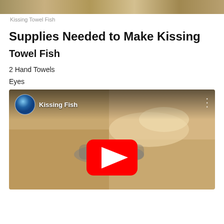[Figure (photo): Top portion of a kissing towel fish craft photo]
Kissing Towel Fish
Supplies Needed to Make Kissing
Towel Fish
2 Hand Towels
Eyes
[Figure (screenshot): YouTube video embed showing 'Kissing Fish' video with play button, channel avatar, and video thumbnail of hands folding towel]